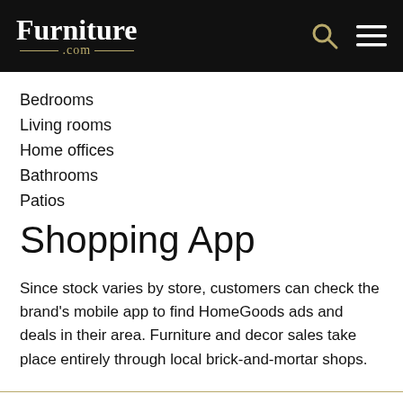Furniture.com
Bedrooms
Living rooms
Home offices
Bathrooms
Patios
Shopping App
Since stock varies by store, customers can check the brand's mobile app to find HomeGoods ads and deals in their area. Furniture and decor sales take place entirely through local brick-and-mortar shops.
Need Help? Visit Our Help Center